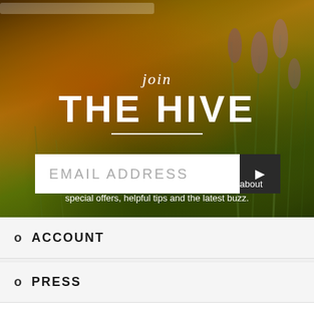[Figure (photo): Hero background: blurred photograph of lavender flowers with bokeh effect, warm golden and green tones with purple flower spikes in foreground]
join THE HIVE
EMAIL ADDRESS
Become a Hive Member to be the first to learn about special offers, helpful tips and the latest buzz.
ACCOUNT
PRESS